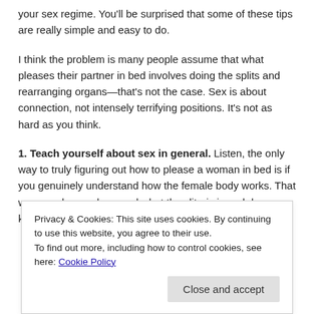your sex regime. You'll be surprised that some of these tips are really simple and easy to do.
I think the problem is many people assume that what pleases their partner in bed involves doing the splits and rearranging organs—that's not the case. Sex is about connection, not intensely terrifying positions. It's not as hard as you think.
1. Teach yourself about sex in general. Listen, the only way to truly figuring out how to please a woman in bed is if you genuinely understand how the female body works. That way, you know where and what the clitoris is and does, you know the sensitivity of the
Privacy & Cookies: This site uses cookies. By continuing to use this website, you agree to their use.
To find out more, including how to control cookies, see here: Cookie Policy
Close and accept